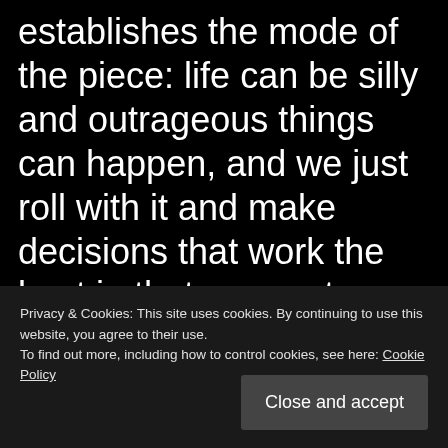establishes the mode of the piece: life can be silly and outrageous things can happen, and we just roll with it and make decisions that work the best in that moment. That's the core of this movie.

The five guardians: Quinn, Rocket, Groot, Gamora, and the brute guy (what is his name?) all meet in prison. How they escape is fairly b... t... b...

[

orb scenes, each character showcases a bit of
Privacy & Cookies: This site uses cookies. By continuing to use this website, you agree to their use.
To find out more, including how to control cookies, see here: Cookie Policy
Close and accept